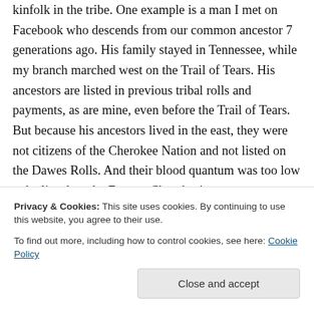kinfolk in the tribe. One example is a man I met on Facebook who descends from our common ancestor 7 generations ago. His family stayed in Tennessee, while my branch marched west on the Trail of Tears. His ancestors are listed in previous tribal rolls and payments, as are mine, even before the Trail of Tears. But because his ancestors lived in the east, they were not citizens of the Cherokee Nation and not listed on the Dawes Rolls. And their blood quantum was too low to be listed on the Eastern Cherokee's
Privacy & Cookies: This site uses cookies. By continuing to use this website, you agree to their use.
To find out more, including how to control cookies, see here: Cookie Policy
create his own tribe. He won't be doing that